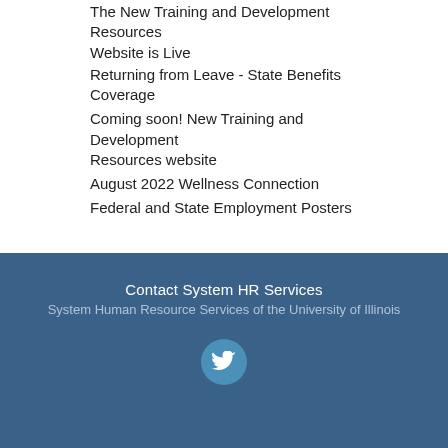The New Training and Development Resources Website is Live
Returning from Leave - State Benefits Coverage
Coming soon! New Training and Development Resources website
August 2022 Wellness Connection
Federal and State Employment Posters
RSS   SUBSCRIBE (110)   CONTACTS
Contact System HR Services
System Human Resource Services of the University of Illinois